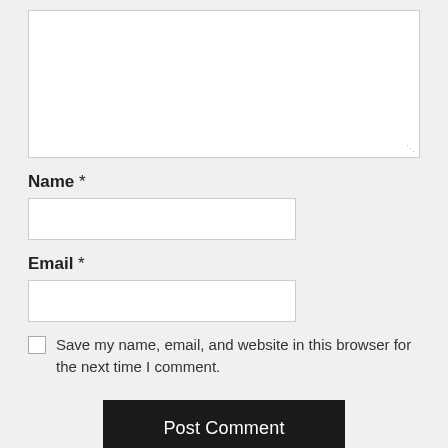[Figure (screenshot): Large empty textarea (comment input box) with white background and light grey border, showing resize handle dots at bottom-right corner.]
Name *
[Figure (screenshot): Text input field for Name, white background with grey border.]
Email *
[Figure (screenshot): Text input field for Email, white background with grey border.]
Save my name, email, and website in this browser for the next time I comment.
Post Comment